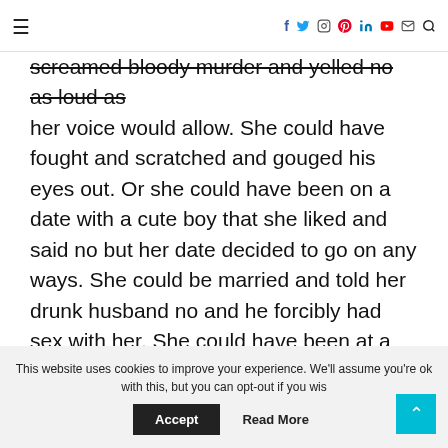≡  f  t  instagram  pinterest  in  youtube  mail  search
screamed bloody murder and yelled no as loud as her voice would allow. She could have fought and scratched and gouged his eyes out. Or she could have been on a date with a cute boy that she liked and said no but her date decided to go on any ways. She could be married and told her drunk husband no and he forcibly had sex with her. She could have been at a frat party for the first time, drank too much and been left behind by her friends, passed out and been taken advantage of.
This website uses cookies to improve your experience. We'll assume you're ok with this, but you can opt-out if you wish.
Accept   Read More